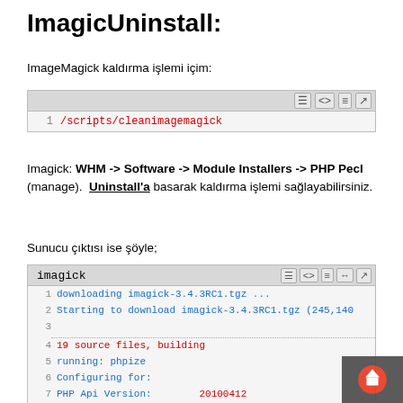ImagicUninstall:
ImageMagick kaldırma işlemi içim:
[Figure (screenshot): Code block showing: 1  /scripts/cleanimagemagick]
Imagick: WHM -> Software -> Module Installers -> PHP Pecl (manage).  Uninstall'a basarak kaldırma işlemi sağlayabilirsiniz.
Sunucu çıktısı ise şöyle;
[Figure (screenshot): Code block labeled 'imagick' showing terminal output lines 1-11 with downloading and installation info]